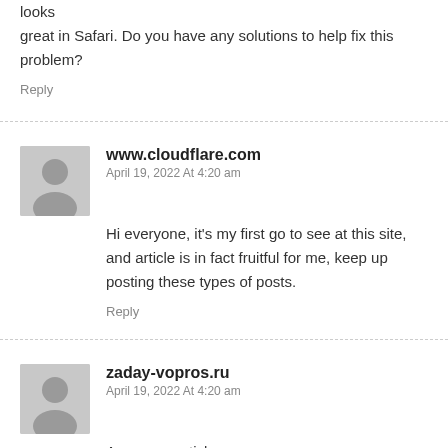looks great in Safari. Do you have any solutions to help fix this problem?
Reply
www.cloudflare.com
April 19, 2022 At 4:20 am
Hi everyone, it's my first go to see at this site, and article is in fact fruitful for me, keep up posting these types of posts.
Reply
zaday-vopros.ru
April 19, 2022 At 4:20 am
Awesome article.
Reply
xinyue678.com